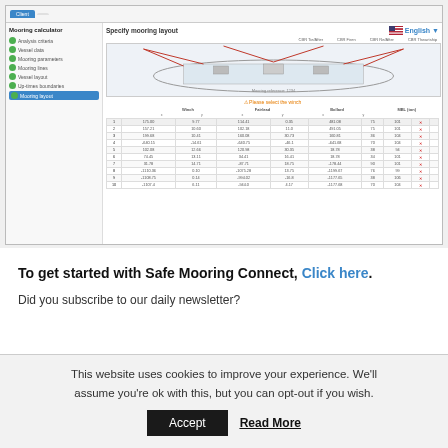[Figure (screenshot): Screenshot of a Mooring calculator web application showing a ship mooring layout diagram with a data table listing winch, fairlead, bollard, and MBL values for 10 mooring lines. Sidebar shows navigation steps. Language set to English with US flag.]
To get started with Safe Mooring Connect, Click here.
Did you subscribe to our daily newsletter?
This website uses cookies to improve your experience. We'll assume you're ok with this, but you can opt-out if you wish.
Accept
Read More